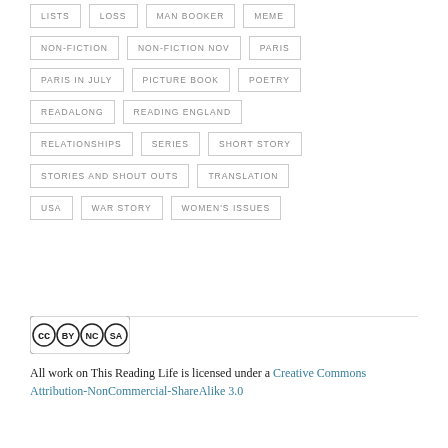LISTS
LOSS
MAN BOOKER
MEME
NON-FICTION
NON-FICTION NOV
PARIS
PARIS IN JULY
PICTURE BOOK
POETRY
READALONG
READING ENGLAND
RELATIONSHIPS
SERIES
SHORT STORY
STORIES AND SHOUT OUTS
TRANSLATION
USA
WAR STORY
WOMEN'S ISSUES
[Figure (logo): Creative Commons license badge: CC BY NC SA icons]
All work on This Reading Life is licensed under a Creative Commons Attribution-NonCommercial-ShareAlike 3.0